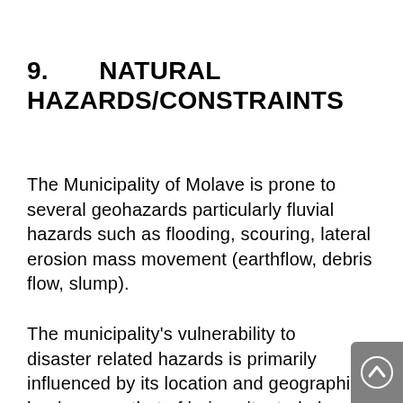9.      NATURAL HAZARDS/CONSTRAINTS
The Municipality of Molave is prone to several geohazards particularly fluvial hazards such as flooding, scouring, lateral erosion mass movement (earthflow, debris flow, slump).
The municipality's vulnerability to disaster related hazards is primarily influenced by its location and geographic landscape – that of being situated along the two major rivers, the Salug Daku and Salug Diut. Fortunately, the Municipality of Molave, have not experienced any major